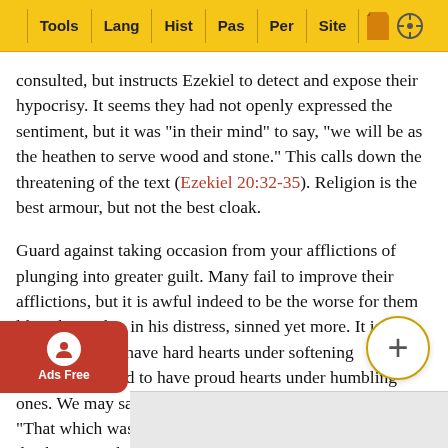Tools | Lang | Hist | Pas | Per | Site
consulted, but instructs Ezekiel to detect and expose their hypocrisy. It seems they had not openly expressed the sentiment, but it was “in their mind” to say, “we will be as the heathen to serve wood and stone.” This calls down the threatening of the text (Ezekiel 20:32-35). Religion is the best armour, but not the best cloak.
Guard against taking occasion from your afflictions of plunging into greater guilt. Many fail to improve their afflictions, but it is awful indeed to be the worse for them like Ahaz, who, in his distress, sinned yet more. It is a fearful thing to have hard hearts under softening providences, and to have proud hearts under humbling ones. We may say of affliction as Paul said of the Law, “That which was ordained to life, I found to be unto death.” Men’s hearts are of a amber, made harder by affliction, and reverberate the cold. Guard against going farther from God under trials, against having to extricate short of